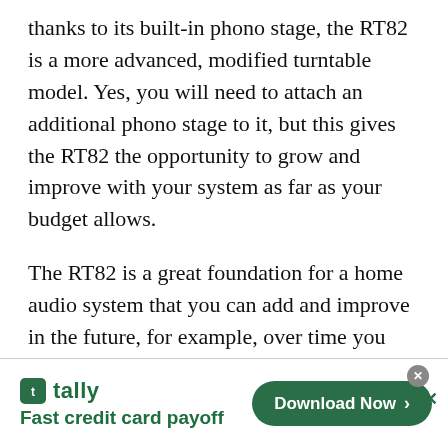thanks to its built-in phono stage, the RT82 is a more advanced, modified turntable model. Yes, you will need to attach an additional phono stage to it, but this gives the RT82 the opportunity to grow and improve with your system as far as your budget allows.
The RT82 is a great foundation for a home audio system that you can add and improve in the future, for example, over time you can add an acrylic disc, a powerful phono stage and amplifier (and this is just the beginning).
[Figure (other): Advertisement banner for Tally app — 'Fast credit card payoff' with a green Download Now button and close controls]